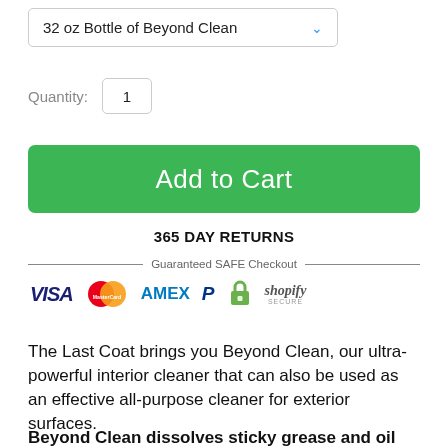32 oz Bottle of Beyond Clean
Quantity: 1
Add to Cart
365 DAY RETURNS
[Figure (infographic): Guaranteed SAFE Checkout banner with payment icons: VISA, MasterCard, AMEX, PayPal, Lock, Shopify Secure]
The Last Coat brings you Beyond Clean, our ultra-powerful interior cleaner that can also be used as an effective all-purpose cleaner for exterior surfaces.
Beyond Clean dissolves sticky grease and oil